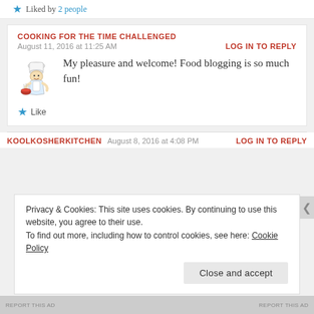★ Liked by 2 people
COOKING FOR THE TIME CHALLENGED
August 11, 2016 at 11:25 AM
LOG IN TO REPLY
[Figure (illustration): Cartoon illustration of a chef holding a bowl]
My pleasure and welcome! Food blogging is so much fun!
★ Like
KOOLKOSHERKITCHEN
August 8, 2016 at 4:08 PM
LOG IN TO REPLY
Privacy & Cookies: This site uses cookies. By continuing to use this website, you agree to their use.
To find out more, including how to control cookies, see here: Cookie Policy
Close and accept